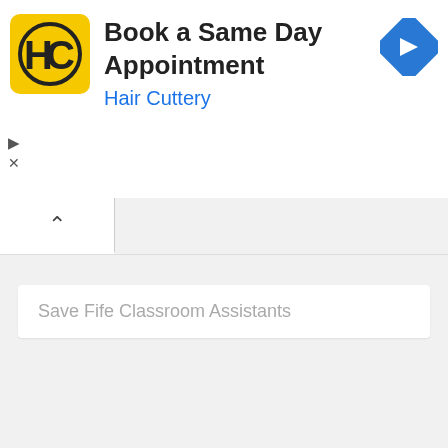[Figure (screenshot): Hair Cuttery advertisement banner with yellow logo, text 'Book a Same Day Appointment' and 'Hair Cuttery' in blue, with a blue diamond navigation icon on the right, and ad controls (play triangle and X) on the left below]
Book a Same Day Appointment
Hair Cuttery
Save Fife Classroom Assistants